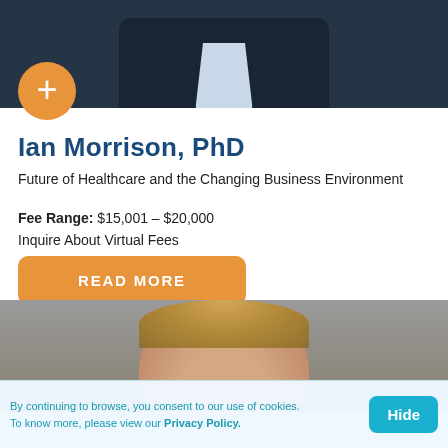[Figure (photo): Top portion of a person in a dark jacket and light blue shirt against a dark background]
[Figure (illustration): Orange circular button with a plus/cross symbol]
Ian Morrison, PhD
Future of Healthcare and the Changing Business Environment
Fee Range: $15,001 – $20,000
Inquire About Virtual Fees
READ MORE
[Figure (photo): Bottom portion of a second person with blond/light brown hair, partial face visible]
By continuing to browse, you consent to our use of cookies. To know more, please view our Privacy Policy.